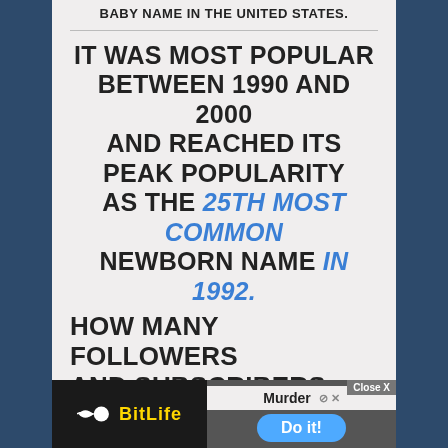BABY NAME IN THE UNITED STATES.
IT WAS MOST POPULAR BETWEEN 1990 AND 2000 AND REACHED ITS PEAK POPULARITY AS THE 25TH MOST COMMON NEWBORN NAME IN 1992.
IN THE PAST FEW YEARS, THE NAME HAS LOST SOME OF ITS POPULARITY.
HOW MANY FOLLOWERS AND SUBSCRIBERS DO...
[Figure (screenshot): Advertisement banner showing BitLife app and a 'Murder - Do it!' prompt with Close X button]